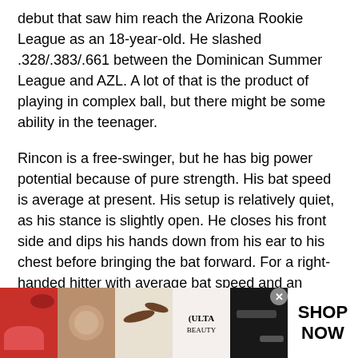debut that saw him reach the Arizona Rookie League as an 18-year-old. He slashed .328/.383/.661 between the Dominican Summer League and AZL. A lot of that is the product of playing in complex ball, but there might be some ability in the teenager.
Rincon is a free-swinger, but he has big power potential because of pure strength. His bat speed is average at present. His setup is relatively quiet, as his stance is slightly open. He closes his front side and dips his hands down from his ear to his chest before bringing the bat forward. For a right-handed hitter with average bat speed and an uppercut swing, that might need to change if he's to be successful at the advanced levels of the minors. He has a moderate leg kick and sometimes has trouble getting out on his front foot. But when he stays back and barrels a pitch, the ball goes a long way. His
[Figure (photo): Ulta Beauty advertisement banner with cosmetics images (lips, makeup brush, eye with eyeliner, Ulta Beauty logo, eye with eyeliner) and a SHOP NOW call to action button]